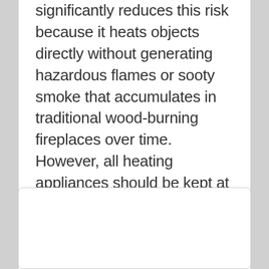significantly reduces this risk because it heats objects directly without generating hazardous flames or sooty smoke that accumulates in traditional wood-burning fireplaces over time. However, all heating appliances should be kept at least 36 inches away from anything flammable while being operated for maximum safety benefits regardless of type.